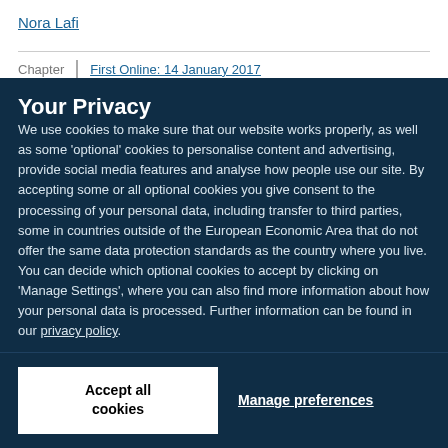Nora Lafi
Chapter | First Online: 14 January 2017
Your Privacy
We use cookies to make sure that our website works properly, as well as some 'optional' cookies to personalise content and advertising, provide social media features and analyse how people use our site. By accepting some or all optional cookies you give consent to the processing of your personal data, including transfer to third parties, some in countries outside of the European Economic Area that do not offer the same data protection standards as the country where you live. You can decide which optional cookies to accept by clicking on 'Manage Settings', where you can also find more information about how your personal data is processed. Further information can be found in our privacy policy.
Accept all cookies
Manage preferences